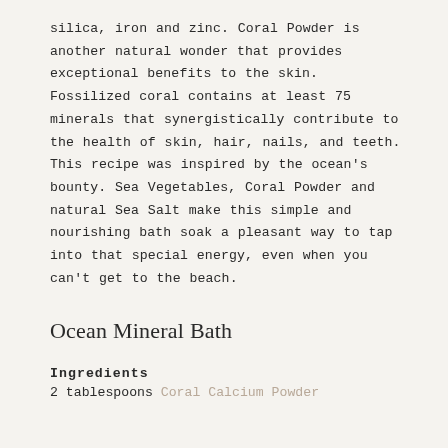silica, iron and zinc. Coral Powder is another natural wonder that provides exceptional benefits to the skin. Fossilized coral contains at least 75 minerals that synergistically contribute to the health of skin, hair, nails, and teeth. This recipe was inspired by the ocean's bounty. Sea Vegetables, Coral Powder and natural Sea Salt make this simple and nourishing bath soak a pleasant way to tap into that special energy, even when you can't get to the beach.
Ocean Mineral Bath
Ingredients
2 tablespoons Coral Calcium Powder